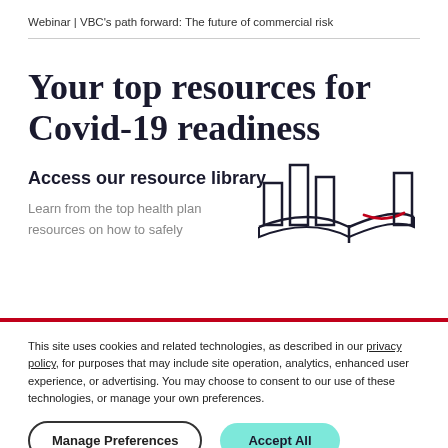Webinar | VBC's path forward: The future of commercial risk
Your top resources for Covid-19 readiness
Access our resource library
Learn from the top health plan resources on how to safely
[Figure (illustration): Line illustration of an open book with bar chart pages and a red bookmark ribbon, drawn in dark navy and red outline style]
This site uses cookies and related technologies, as described in our privacy policy, for purposes that may include site operation, analytics, enhanced user experience, or advertising. You may choose to consent to our use of these technologies, or manage your own preferences.
Manage Preferences   Accept All